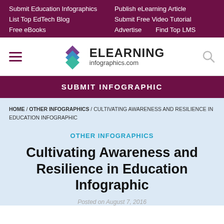Submit Education Infographics | Publish eLearning Article | List Top EdTech Blog | Submit Free Video Tutorial | Free eBooks | Advertise | Find Top LMS
[Figure (logo): eLearning Infographics logo with stacked diamond shapes in purple, blue, and green]
SUBMIT INFOGRAPHIC
HOME / OTHER INFOGRAPHICS / CULTIVATING AWARENESS AND RESILIENCE IN EDUCATION INFOGRAPHIC
OTHER INFOGRAPHICS
Cultivating Awareness and Resilience in Education Infographic
Posted on August 7, 2016